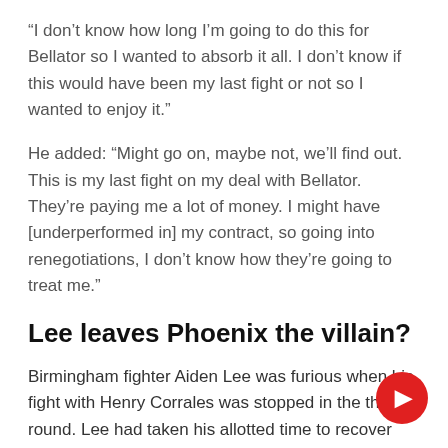“I don’t know how long I’m going to do this for Bellator so I wanted to absorb it all. I don’t know if this would have been my last fight or not so I wanted to enjoy it.”
He added: “Might go on, maybe not, we’ll find out. This is my last fight on my deal with Bellator. They’re paying me a lot of money. I might have [underperformed in] my contract, so going into renegotiations, I don’t know how they’re going to treat me.”
Lee leaves Phoenix the villain?
Birmingham fighter Aiden Lee was furious when his fight with Henry Corrales was stopped in the third round. Lee had taken his allotted time to recover